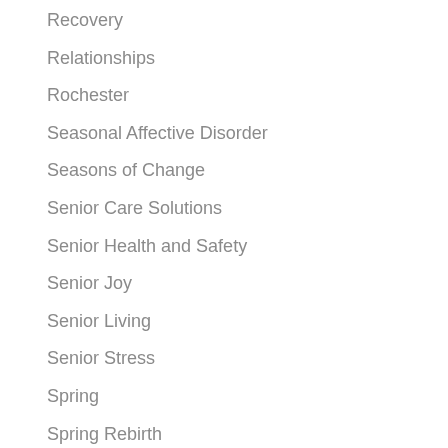Recovery
Relationships
Rochester
Seasonal Affective Disorder
Seasons of Change
Senior Care Solutions
Senior Health and Safety
Senior Joy
Senior Living
Senior Stress
Spring
Spring Rebirth
Springtime